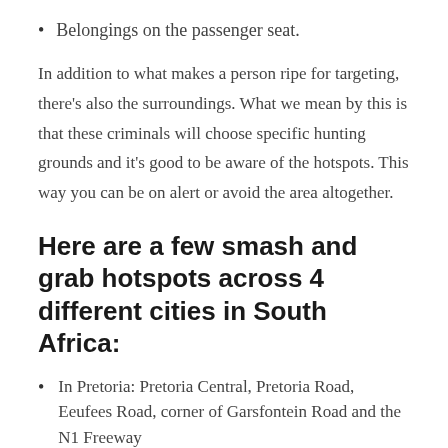Belongings on the passenger seat.
In addition to what makes a person ripe for targeting, there’s also the surroundings. What we mean by this is that these criminals will choose specific hunting grounds and it’s good to be aware of the hotspots. This way you can be on alert or avoid the area altogether.
Here are a few smash and grab hotspots across 4 different cities in South Africa:
In Pretoria: Pretoria Central, Pretoria Road, Eeufees Road, corner of Garsfontein Road and the N1 Freeway